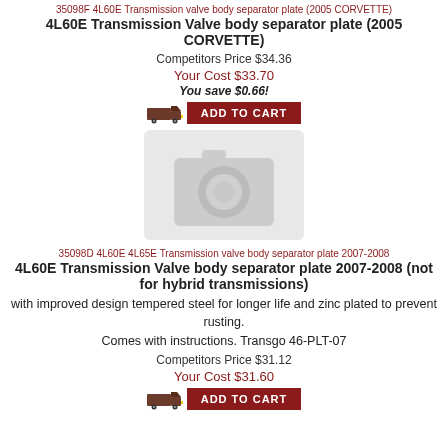35098F 4L60E Transmission valve body separator plate (2005 CORVETTE)
4L60E Transmission Valve body separator plate (2005 CORVETTE)
Competitors Price $34.36
Your Cost $33.70
You save $0.66!
[Figure (illustration): Truck icon and ADD TO CART button for first product]
[Figure (photo): Placeholder camera image for product photo]
35098D 4L60E 4L65E Transmission valve body separator plate 2007-2008
4L60E Transmission Valve body separator plate 2007-2008 (not for hybrid transmissions)
with improved design tempered steel for longer life and zinc plated to prevent rusting.
Comes with instructions. Transgo 46-PLT-07
Competitors Price $31.12
Your Cost $31.60
[Figure (illustration): Truck icon and ADD TO CART button for second product]